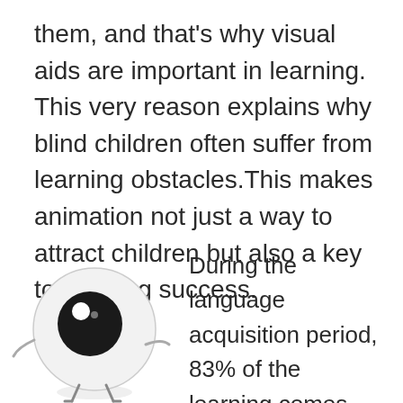them, and that's why visual aids are important in learning. This very reason explains why blind children often suffer from learning obstacles.This makes animation not just a way to attract children but also a key to learning success.
[Figure (illustration): A cartoon eyeball character with a large black iris, small white highlight, two small arms/wings and two thin legs, rendered in grayscale on white background.]
During the language acquisition period, 83% of the learning comes from visual input.